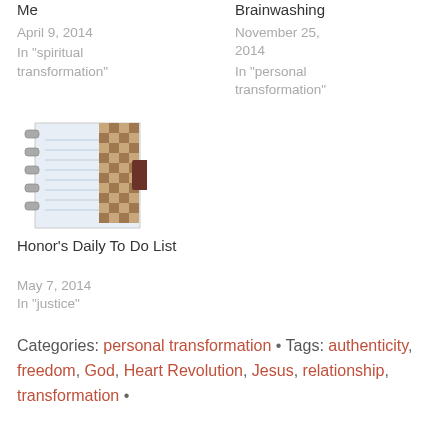Me
April 9, 2014
In "spiritual transformation"
Brainwashing
November 25, 2014
In "personal transformation"
[Figure (photo): Thumbnail image of a planner/binder with a checkered cover and metal rings]
Honor's Daily To Do List
May 7, 2014
In "justice"
Categories: personal transformation • Tags: authenticity, freedom, God, Heart Revolution, Jesus, relationship, transformation •